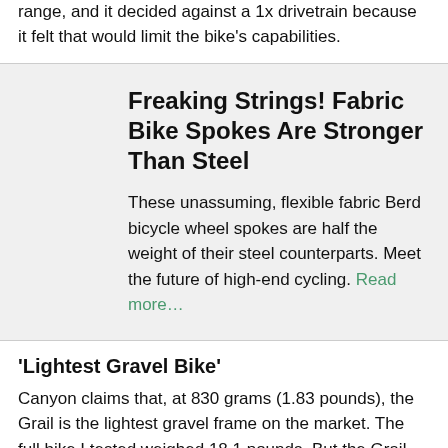range, and it decided against a 1x drivetrain because it felt that would limit the bike's capabilities.
Freaking Strings! Fabric Bike Spokes Are Stronger Than Steel
These unassuming, flexible fabric Berd bicycle wheel spokes are half the weight of their steel counterparts. Meet the future of high-end cycling. Read more…
'Lightest Gravel Bike'
Canyon claims that, at 830 grams (1.83 pounds), the Grail is the lightest gravel frame on the market. The full bike I tested weighed 18.1 pounds. But the Grail doesn't skimp on bells